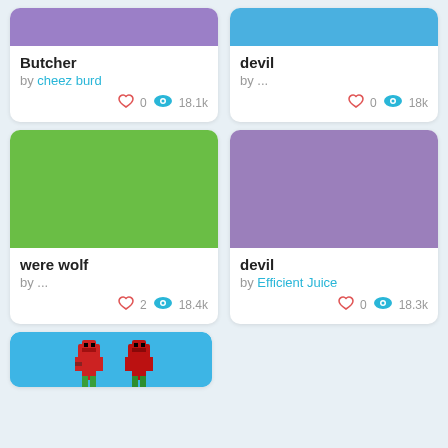[Figure (screenshot): Card: Butcher skin with purple thumbnail, by cheez burd, 0 likes, 18.1k views]
[Figure (screenshot): Card: devil skin with blue thumbnail, by ..., 0 likes, 18k views]
[Figure (screenshot): Card: were wolf skin with green thumbnail, by ..., 2 likes, 18.4k views]
[Figure (screenshot): Card: devil skin with purple thumbnail, by Efficient Juice, 0 likes, 18.3k views]
[Figure (screenshot): Partial card at bottom: blue thumbnail with red character figures visible]